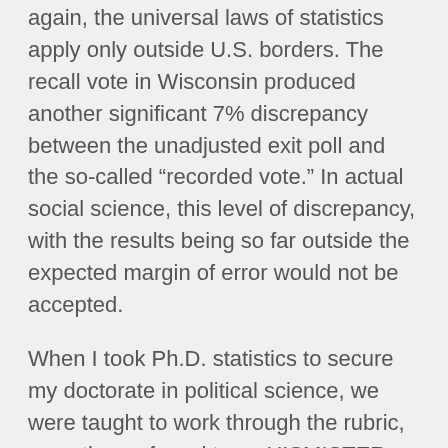again, the universal laws of statistics apply only outside U.S. borders. The recall vote in Wisconsin produced another significant 7% discrepancy between the unadjusted exit poll and the so-called “recorded vote.” In actual social science, this level of discrepancy, with the results being so far outside the expected margin of error would not be accepted.
When I took Ph.D. statistics to secure my doctorate in political science, we were taught to work through the rubric, sometime referred to as HISMISTER. The “H” stood for an explanation of the discrepancy rooted in some historical intervention, such as one of the candidates being caught in a public restroom with his pants down and a “wide stance” soliciting an